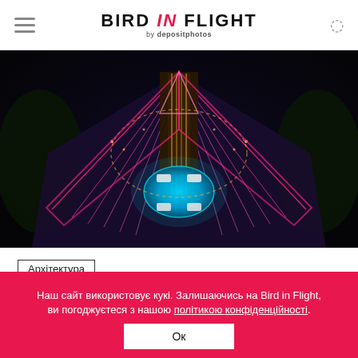BIRD IN FLIGHT by depositphotos
[Figure (photo): Aerial night view of a large illuminated resort hotel complex with pink/purple accent lighting, a central courtyard with a pool, and palm trees viewed from above.]
Архітектура
Архітектор Норман Фостер відновлюватиме Харків
Наш сайт використовує кукі. Залишаючись на Bird in Flight, ви погоджуєтеся з нашою політикою конфіденційності. Ок